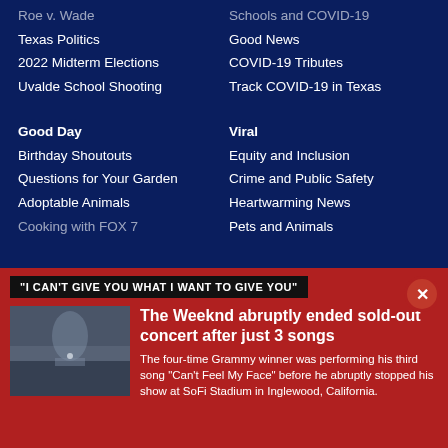Roe v. Wade
Schools and COVID-19
Texas Politics
Good News
2022 Midterm Elections
COVID-19 Tributes
Uvalde School Shooting
Track COVID-19 in Texas
Good Day
Viral
Birthday Shoutouts
Equity and Inclusion
Questions for Your Garden
Crime and Public Safety
Adoptable Animals
Heartwarming News
Cooking with FOX 7
Pets and Animals
"I CAN'T GIVE YOU WHAT I WANT TO GIVE YOU"
The Weeknd abruptly ended sold-out concert after just 3 songs
The four-time Grammy winner was performing his third song "Can't Feel My Face" before he abruptly stopped his show at SoFi Stadium in Inglewood, California.